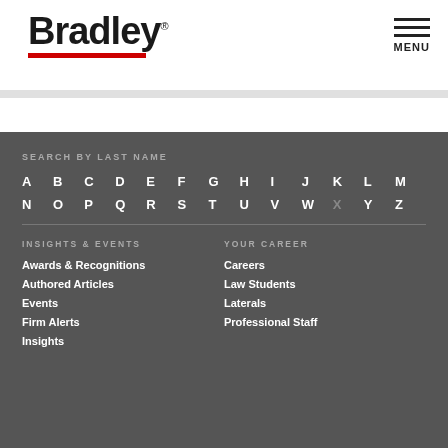[Figure (logo): Bradley law firm logo with red underline]
SEARCH BY LAST NAME
A B C D E F G H I J K L M N O P Q R S T U V W X Y Z
INSIGHTS & EVENTS
Awards & Recognitions
Authored Articles
Events
Firm Alerts
Insights
YOUR CAREER
Careers
Law Students
Laterals
Professional Staff